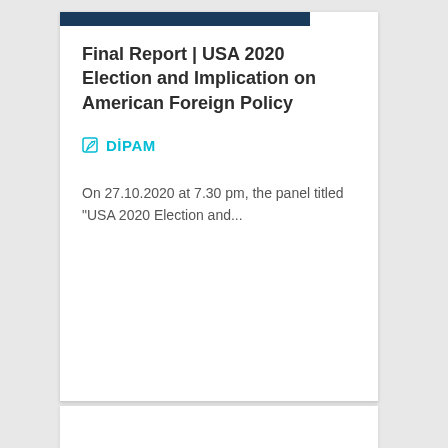Final Report | USA 2020 Election and Implication on American Foreign Policy
DiPAM
On 27.10.2020 at 7.30 pm, the panel titled "USA 2020 Election and...